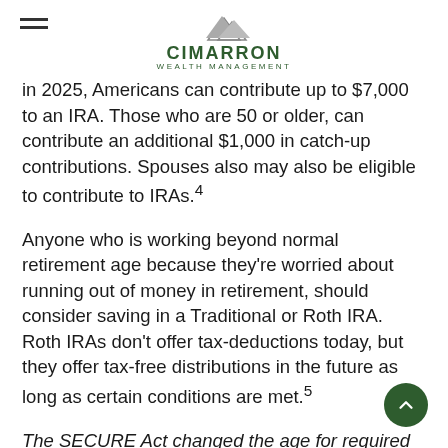CIMARRON WEALTH MANAGEMENT
in 2025, Americans can contribute up to $7,000 to an IRA. Those who are 50 or older, can contribute an additional $1,000 in catch-up contributions. Spouses also may also be eligible to contribute to IRAs.⁴
Anyone who is working beyond normal retirement age because they're worried about running out of money in retirement, should consider saving in a Traditional or Roth IRA. Roth IRAs don't offer tax-deductions today, but they offer tax-free distributions in the future as long as certain conditions are met.⁵
The SECURE Act changed the age for required